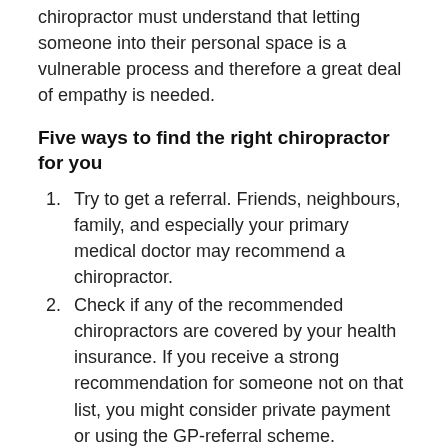chiropractor must understand that letting someone into their personal space is a vulnerable process and therefore a great deal of empathy is needed.
Five ways to find the right chiropractor for you
Try to get a referral. Friends, neighbours, family, and especially your primary medical doctor may recommend a chiropractor.
Check if any of the recommended chiropractors are covered by your health insurance. If you receive a strong recommendation for someone not on that list, you might consider private payment or using the GP-referral scheme.
Do a quality check for credentials to confirm if they are a current member of the Australian Chiropractor's Association, where they received their qualification, and if there are any claims against them.